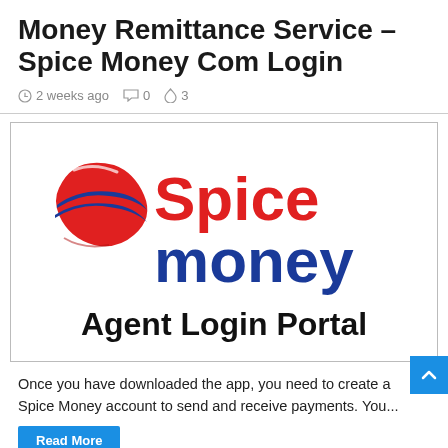Money Remittance Service – Spice Money Com Login
2 weeks ago  0  3
[Figure (logo): Spice Money Agent Login Portal logo with red and blue swirl icon, red 'Spice' text, blue 'money' text, and 'Agent Login Portal' in bold black below]
Once you have downloaded the app, you need to create a Spice Money account to send and receive payments. You...